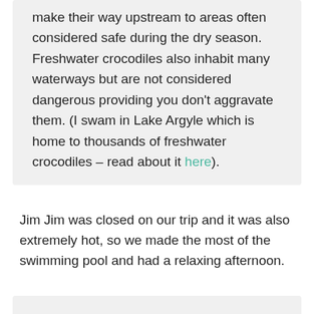make their way upstream to areas often considered safe during the dry season. Freshwater crocodiles also inhabit many waterways but are not considered dangerous providing you don't aggravate them. (I swam in Lake Argyle which is home to thousands of freshwater crocodiles – read about it here).
Jim Jim was closed on our trip and it was also extremely hot, so we made the most of the swimming pool and had a relaxing afternoon.
Tip: You will be up early again tomorrow, before the hotel restaurant is open, so I advise buying some snacks from the hotel shop for the next day.